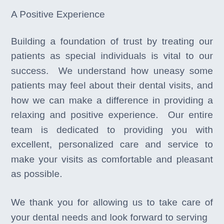A Positive Experience
Building a foundation of trust by treating our patients as special individuals is vital to our success.  We understand how uneasy some patients may feel about their dental visits, and how we can make a difference in providing a relaxing and positive experience.  Our entire team is dedicated to providing you with excellent, personalized care and service to make your visits as comfortable and pleasant as possible.
We thank you for allowing us to take care of your dental needs and look forward to serving